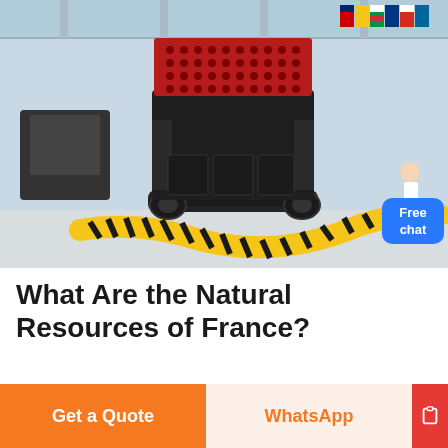[Figure (photo): Industrial photo of a large impact crusher/mining machine in a warehouse with black and yellow caution tape on the floor, international flags visible in background. A 'Free chat' button overlays the top-right corner.]
What Are the Natural Resources of France?
What Are the Natural Resources of France? A: , Germany's natural resources include bituminous coal, lignite (brown coal), natural gas, iron
Get a Quote
WhatsApp